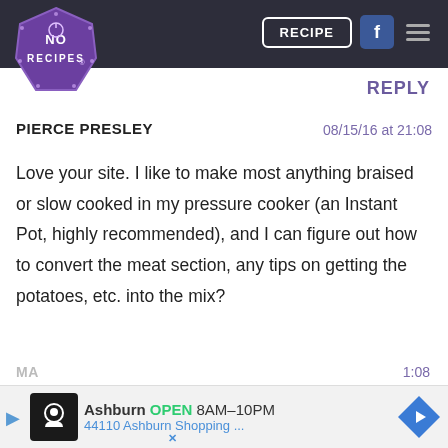[Figure (logo): No Recipes logo — purple hexagonal badge with 'NO RECIPES' text]
RECIPE | [Facebook icon] | [Menu icon]
REPLY
PIERCE PRESLEY   08/15/16 at 21:08
Love your site. I like to make most anything braised or slow cooked in my pressure cooker (an Instant Pot, highly recommended), and I can figure out how to convert the meat section, any tips on getting the potatoes, etc. into the mix?
REPLY
[Figure (screenshot): Advertisement banner: Ashburn OPEN 8AM-10PM, 44110 Ashburn Shopping...]